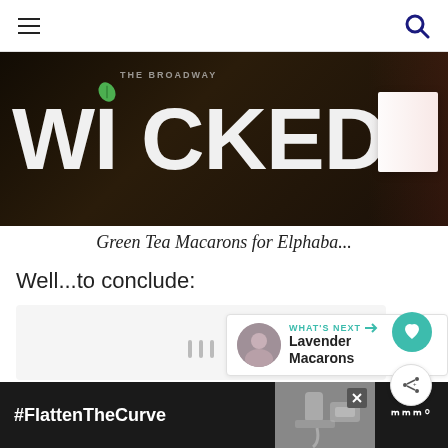Navigation menu and search icon
[Figure (photo): Close-up photo of the Wicked Broadway musical logo/book with large white bold text 'WICKED' on a dark background, with a small green flying figure in the 'i', and a white book/card visible on the right side]
Green Tea Macarons for Elphaba...
Well...to conclude:
[Figure (screenshot): Gray content area with loading dots in the center, a teal heart favorite button and a share button on the right side, and a 'What's Next' panel showing Lavender Macarons]
WHAT'S NEXT → Lavender Macarons
[Figure (screenshot): Dark advertisement bar at the bottom with #FlattenTheCurve text, an image of hands washing at a faucet, a close button, and a logo]